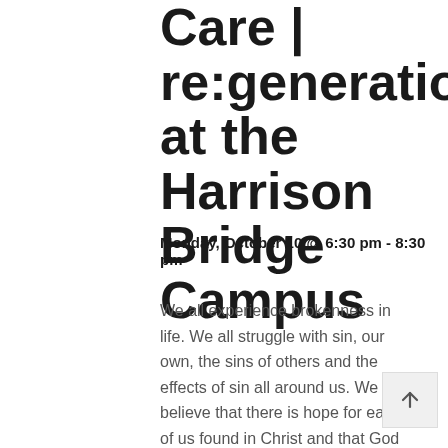Care | re:generation at the Harrison Bridge Campus
Monday, October 10 @ 6:30 pm - 8:30 pm
We all experience brokenness in life. We all struggle with sin, our own, the sins of others and the effects of sin all around us. We believe that there is hope for each of us found in Christ and that God gives us steps of healing in his Word, the Bible. Re:generation is a 12-step discipleship